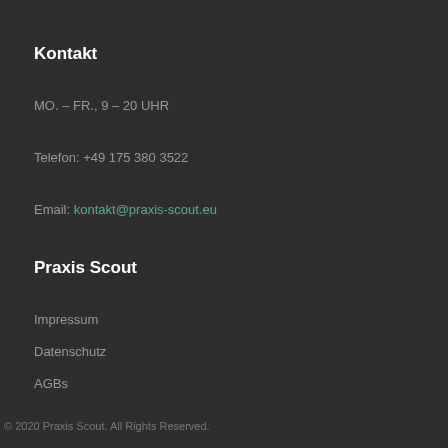Kontakt
MO. – FR., 9 – 20 UHR
Telefon: +49 175 380 3522
Email: kontakt@praxis-scout.eu
Praxis Scout
Impressum
Datenschutz
AGBs
© 2020 Praxis Scout. All Rights Reserved.